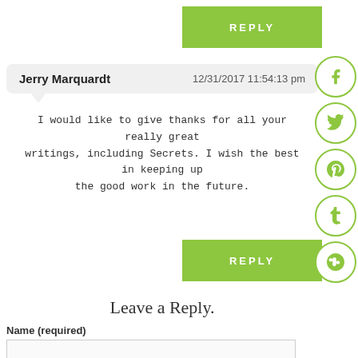REPLY
Jerry Marquardt   12/31/2017 11:54:13 pm
I would like to give thanks for all your really great writings, including Secrets. I wish the best in keeping up the good work in the future.
REPLY
Leave a Reply.
Name (required)